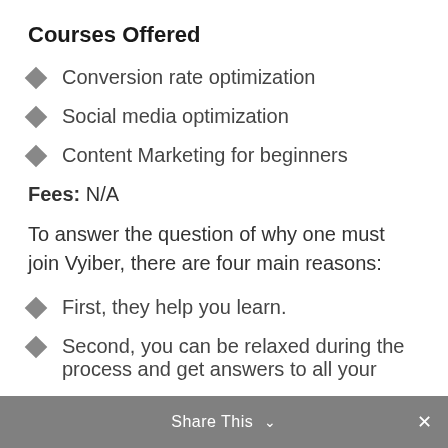Courses Offered
Conversion rate optimization
Social media optimization
Content Marketing for beginners
Fees: N/A
To answer the question of why one must join Vyiber, there are four main reasons:
First, they help you learn.
Second, you can be relaxed during the process and get answers to all your
Share This